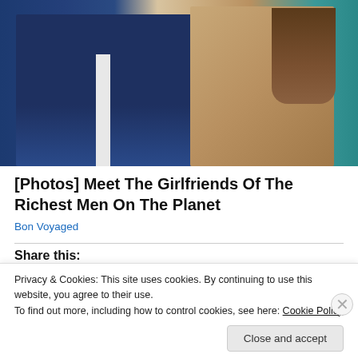[Figure (photo): Photo of a man in a dark blue suit and a woman in a lace top with a pink flower in her hair, sitting together]
[Photos] Meet The Girlfriends Of The Richest Men On The Planet
Bon Voyaged
Share this:
Twitter  Facebook  Email  Skype  Print
Privacy & Cookies: This site uses cookies. By continuing to use this website, you agree to their use.
To find out more, including how to control cookies, see here: Cookie Policy
Close and accept